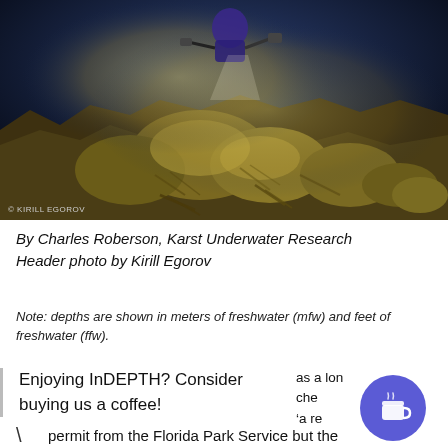[Figure (photo): Underwater cave diving photo showing a diver with equipment illuminating rocky cave formations with a torch/light. Large boulders and limestone formations are visible. Dark blue water environment. Photo credit: Kirill Egorov.]
By Charles Roberson, Karst Underwater Research
Header photo by Kirill Egorov
Note: depths are shown in meters of freshwater (mfw) and feet of freshwater (ffw).
Enjoying InDEPTH? Consider buying us a coffee!
as a long che a re
permit from the Florida Park Service but the